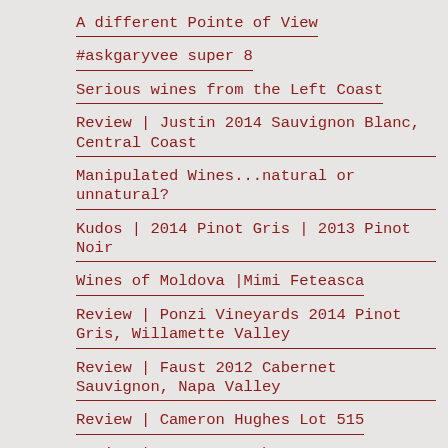A different Pointe of View
#askgaryvee super 8
Serious wines from the Left Coast
Review | Justin 2014 Sauvignon Blanc, Central Coast
Manipulated Wines...natural or unnatural?
Kudos | 2014 Pinot Gris | 2013 Pinot Noir
Wines of Moldova |Mimi Feteasca
Review | Ponzi Vineyards 2014 Pinot Gris, Willamette Valley
Review | Faust 2012 Cabernet Sauvignon, Napa Valley
Review | Cameron Hughes Lot 515
Review | Cameron Hughes Lot 555
Weekly Wine Journal | Best of 2014 List